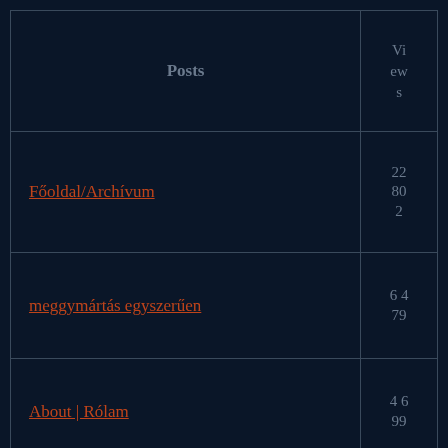| Posts | Views |
| --- | --- |
| Főoldal/Archívum | 22 80 2 |
| meggymártás egyszerűen | 6 4 79 |
| About | Rólam | 4 6 99 |
| Film Stars with own Artworks |  |
| Pop Stars with own Artworks | 3 7 18 |